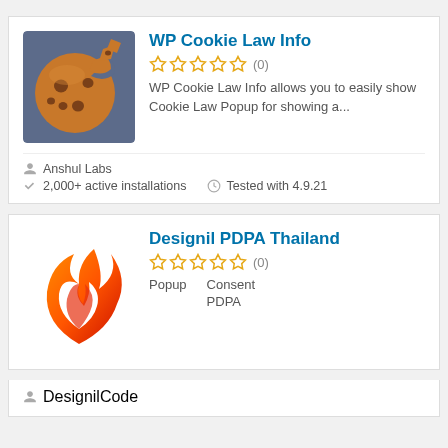WP Cookie Law Info
(0)
WP Cookie Law Info allows you to easily show Cookie Law Popup for showing a...
Anshul Labs
2,000+ active installations
Tested with 4.9.21
Designil PDPA Thailand
(0)
Popup    Consent
                 PDPA
DesignilCode